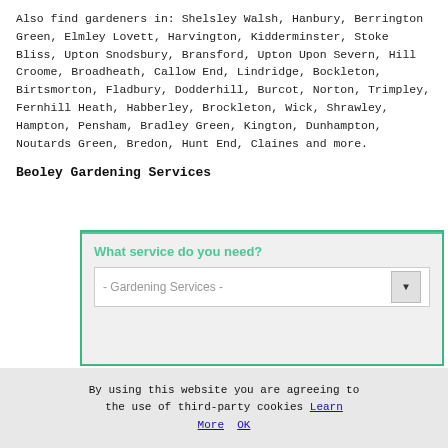Also find gardeners in: Shelsley Walsh, Hanbury, Berrington Green, Elmley Lovett, Harvington, Kidderminster, Stoke Bliss, Upton Snodsbury, Bransford, Upton Upon Severn, Hill Croome, Broadheath, Callow End, Lindridge, Bockleton, Birtsmorton, Fladbury, Dodderhill, Burcot, Norton, Trimpley, Fernhill Heath, Habberley, Brockleton, Wick, Shrawley, Hampton, Pensham, Bradley Green, Kington, Dunhampton, Noutards Green, Bredon, Hunt End, Claines and more.
Beoley Gardening Services
[Figure (screenshot): Widget with green background titled 'Find a Gardener in Beoley Here' and a form below asking 'What service do you need?' with a dropdown showing '- Gardening Services -']
By using this website you are agreeing to the use of third-party cookies Learn More OK